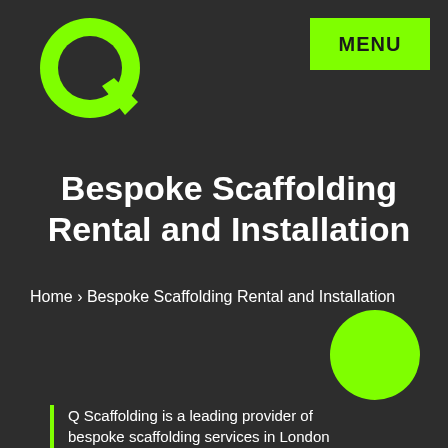[Figure (logo): Large green letter Q logo on dark background]
[Figure (other): Green rectangle button with text MENU in black bold]
Bespoke Scaffolding Rental and Installation
Home › Bespoke Scaffolding Rental and Installation
[Figure (illustration): Bright green filled circle decoration]
Q Scaffolding is a leading provider of bespoke scaffolding services in London